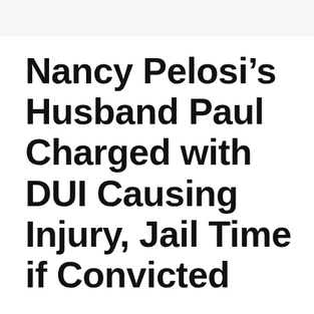Nancy Pelosi’s Husband Paul Charged with DUI Causing Injury, Jail Time if Convicted